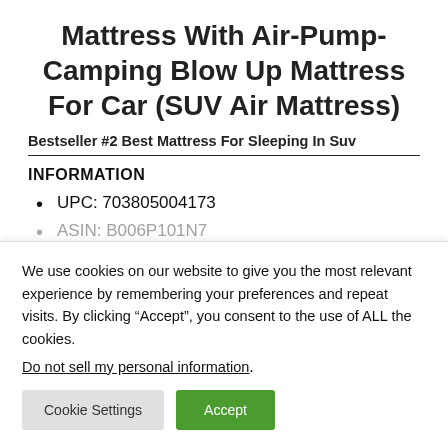Mattress With Air-Pump-Camping Blow Up Mattress For Car (SUV Air Mattress)
Bestseller #2 Best Mattress For Sleeping In Suv
INFORMATION
UPC: 703805004173
ASIN: B006P101N7
We use cookies on our website to give you the most relevant experience by remembering your preferences and repeat visits. By clicking “Accept”, you consent to the use of ALL the cookies.
Do not sell my personal information.